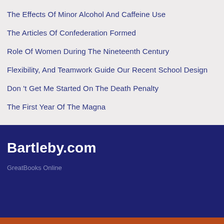The Effects Of Minor Alcohol And Caffeine Use
The Articles Of Confederation Formed
Role Of Women During The Nineteenth Century
Flexibility, And Teamwork Guide Our Recent School Design
Don 't Get Me Started On The Death Penalty
The First Year Of The Magna
Bartleby.com
GreatBooks Online
Get Access